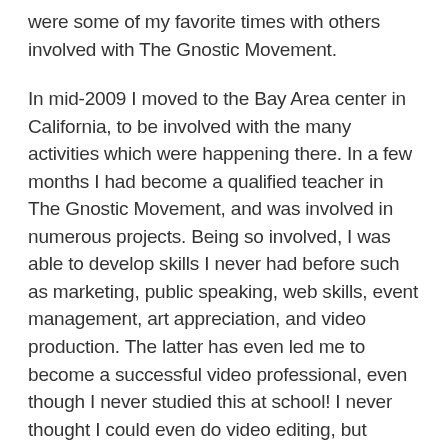were some of my favorite times with others involved with The Gnostic Movement.
In mid-2009 I moved to the Bay Area center in California, to be involved with the many activities which were happening there. In a few months I had become a qualified teacher in The Gnostic Movement, and was involved in numerous projects. Being so involved, I was able to develop skills I never had before such as marketing, public speaking, web skills, event management, art appreciation, and video production. The latter has even led me to become a successful video professional, even though I never studied this at school! I never thought I could even do video editing, but working on various projects in The Gnostic Movement gave me the experience I needed to get started.
Apart from these real life skills, through The Gnostic Movement I greatly increased my knowledge of ancient